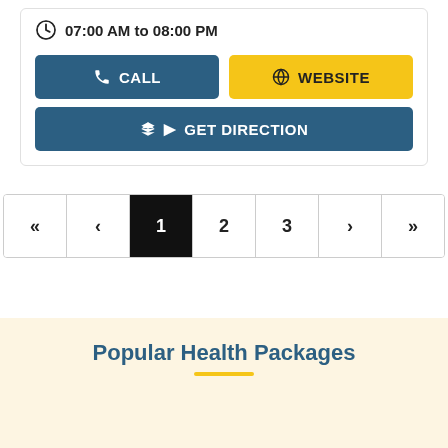07:00 AM to 08:00 PM
CALL
WEBSITE
GET DIRECTION
« < 1 2 3 > »
Popular Health Packages